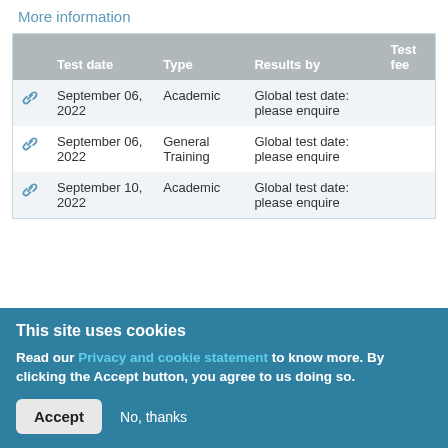More information
|  | Test date | Type | Results by | Test fee |
| --- | --- | --- | --- | --- |
| 🔗 | September 06, 2022 | Academic | Global test date: please enquire |  |
| 🔗 | September 06, 2022 | General Training | Global test date: please enquire |  |
| 🔗 | September 10, 2022 | Academic | Global test date: please enquire |  |
This site uses cookies
Read our Privacy and cookie statement to know more. By clicking the Accept button, you agree to us doing so.
Accept    No, thanks